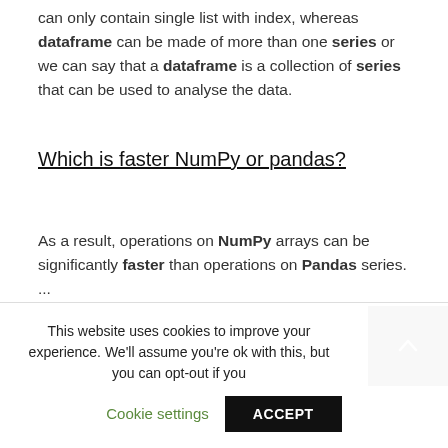can only contain single list with index, whereas dataframe can be made of more than one series or we can say that a dataframe is a collection of series that can be used to analyse the data.
Which is faster NumPy or pandas?
As a result, operations on NumPy arrays can be significantly faster than operations on Pandas series. ...
This website uses cookies to improve your experience. We'll assume you're ok with this, but you can opt-out if you